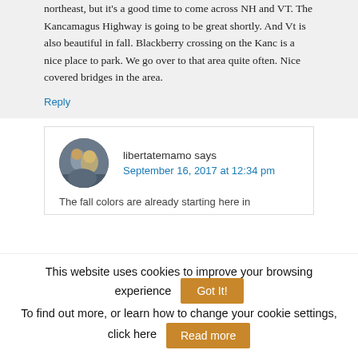northeast, but it's a good time to come across NH and VT. The Kancamagus Highway is going to be great shortly. And Vt is also beautiful in fall. Blackberry crossing on the Kanc is a nice place to park. We go over to that area quite often. Nice covered bridges in the area.
Reply
libertatemamo says
September 16, 2017 at 12:34 pm
The fall colors are already starting here in
This website uses cookies to improve your browsing experience
Got It!
To find out more, or learn how to change your cookie settings, click here
Read more